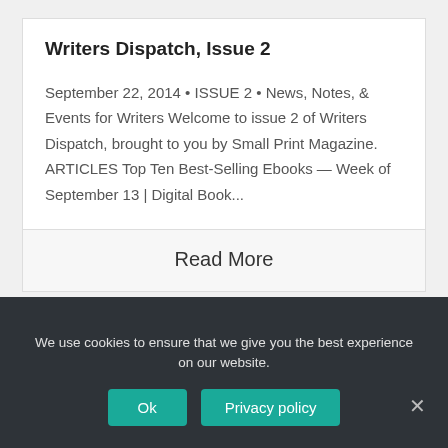Writers Dispatch, Issue 2
September 22, 2014 • ISSUE 2 • News, Notes, & Events for Writers Welcome to issue 2 of Writers Dispatch, brought to you by Small Print Magazine. ARTICLES Top Ten Best-Selling Ebooks — Week of September 13 | Digital Book...
Read More
We use cookies to ensure that we give you the best experience on our website.
Ok
Privacy policy